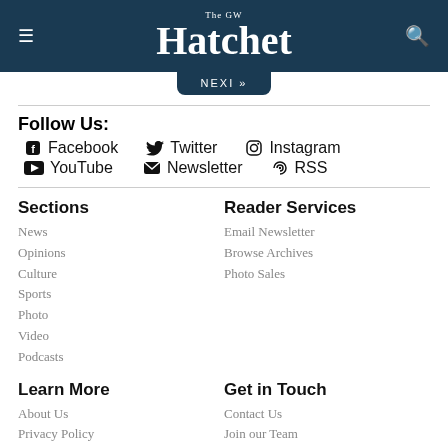The GW Hatchet
NEXT »
Follow Us:
Facebook
Twitter
Instagram
YouTube
Newsletter
RSS
Sections
News
Opinions
Culture
Sports
Photo
Video
Podcasts
Reader Services
Email Newsletter
Browse Archives
Photo Sales
Learn More
About Us
Privacy Policy
Commenting Policy
Publishing Policy
Get in Touch
Contact Us
Join our Team
Advertise